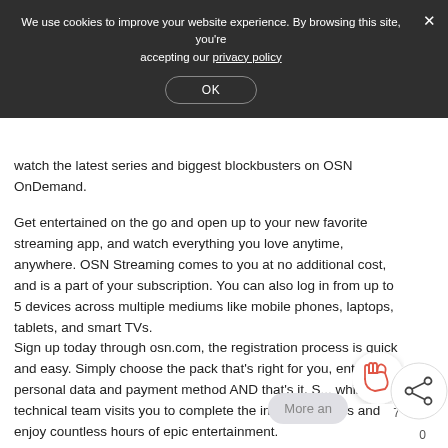We use cookies to improve your website experience. By browsing this site, you're accepting our privacy policy
OK
watch the latest series and biggest blockbusters on OSN OnDemand.
Get entertained on the go and open up to your new favorite streaming app, and watch everything you love anytime, anywhere. OSN Streaming comes to you at no additional cost, and is a part of your subscription. You can also log in from up to 5 devices across multiple mediums like mobile phones, laptops, tablets, and smart TVs.
Sign up today through osn.com, the registration process is quick and easy. Simply choose the pack that's right for you, enter your personal data and payment method AND that's it. S... while our technical team visits you to complete the instal... process and enjoy countless hours of epic entertainment.
More an
7
0